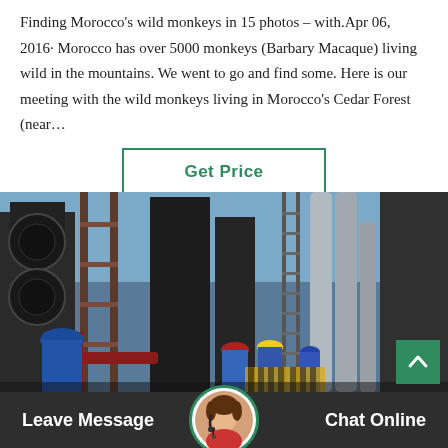Finding Morocco's wild monkeys in 15 photos – with.Apr 06, 2016· Morocco has over 5000 monkeys (Barbary Macaque) living wild in the mountains. We went to go and find some. Here is our meeting with the wild monkeys living in Morocco's Cedar Forest (near…
Get Price
[Figure (photo): Industrial facility photograph showing pipes, scaffolding, large industrial tanks and equipment, with workers wearing hard hats (blue and yellow) visible in the foreground and background. Blue sky visible in upper portion.]
Leave Message
[Figure (photo): Circular avatar photo of a woman wearing a headset/microphone, customer service representative.]
Chat Online